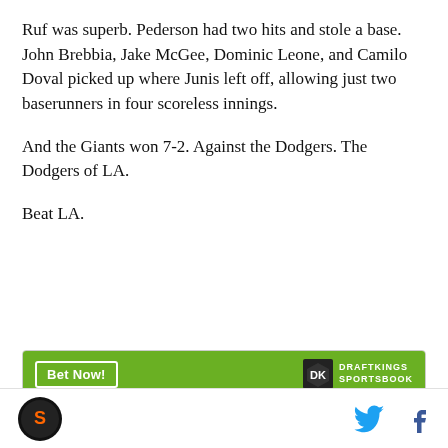Ruf was superb. Pederson had two hits and stole a base. John Brebbia, Jake McGee, Dominic Leone, and Camilo Doval picked up where Junis left off, allowing just two baserunners in four scoreless innings.
And the Giants won 7-2. Against the Dodgers. The Dodgers of LA.
Beat LA.
[Figure (other): DraftKings Sportsbook betting widget with 'Bet Now!' button and 'Joc Pederson' as the bet subject]
SB Nation logo, Twitter icon, Facebook icon